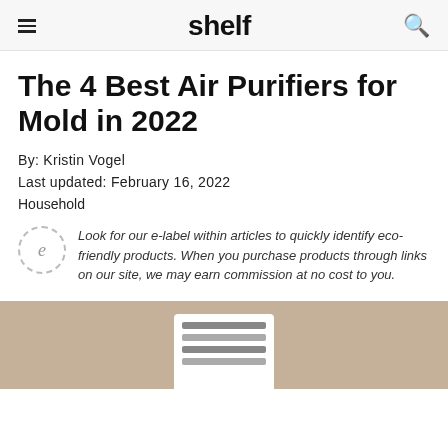shelf
The 4 Best Air Purifiers for Mold in 2022
By: Kristin Vogel
Last updated: February 16, 2022
Household
Look for our e-label within articles to quickly identify eco-friendly products. When you purchase products through links on our site, we may earn commission at no cost to you.
[Figure (photo): Bottom portion of a product photo showing a white air purifier device on a beige/tan background]